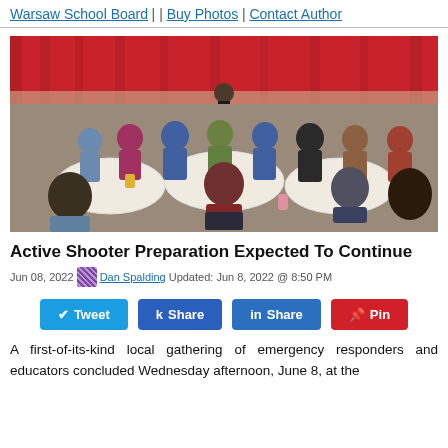Warsaw School Board | | Buy Photos | Contact Author
[Figure (photo): Group of emergency responders and educators seated at round tables in a hall with a red curtain backdrop, facing a presenter at the front of the room.]
Active Shooter Preparation Expected To Continue
Jun 08, 2022 Dan Spalding Updated: Jun 8, 2022 @ 8:50 PM
[Figure (infographic): Social share buttons: Tweet (Twitter/blue), k Share (Facebook/dark blue), in Share (LinkedIn/blue), pin it (Pinterest/red)]
A first-of-its-kind local gathering of emergency responders and educators concluded Wednesday afternoon, June 8, at the